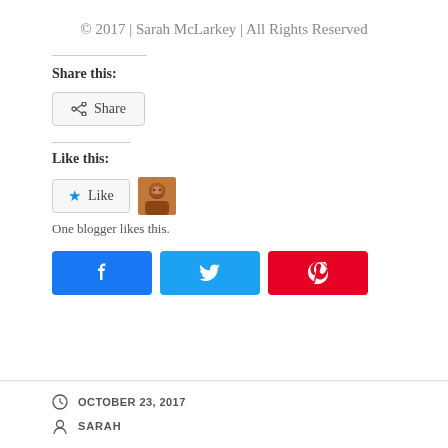© 2017 | Sarah McLarkey | All Rights Reserved
Share this:
[Figure (other): Share button with share icon]
Like this:
[Figure (other): Like button with star icon and avatar thumbnail. One blogger likes this.]
One blogger likes this.
[Figure (other): Social media buttons: Facebook, Twitter, Pinterest]
OCTOBER 23, 2017
SARAH